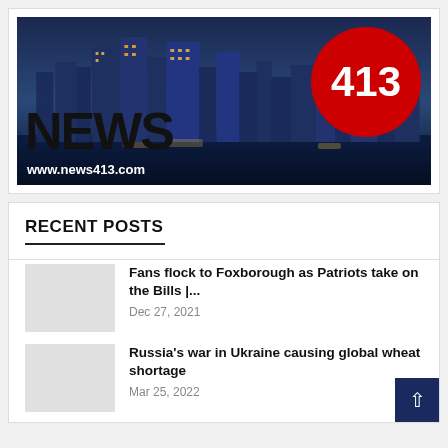[Figure (logo): NEWS413 logo with city skyline background at dusk, red circle with '413', and website URL www.news413.com]
RECENT POSTS
Fans flock to Foxborough as Patriots take on the Bills |... — Dec 27, 2021
Russia's war in Ukraine causing global wheat shortage — Mar 25, 2022